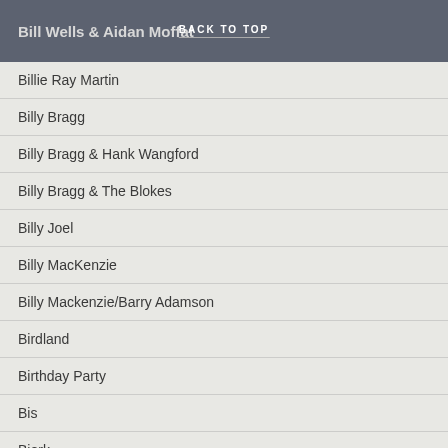Bill Wells & Aidan Moffat | BACK TO TOP
Billie Ray Martin
Billy Bragg
Billy Bragg & Hank Wangford
Billy Bragg & The Blokes
Billy Joel
Billy MacKenzie
Billy Mackenzie/Barry Adamson
Birdland
Birthday Party
Bis
Bjork
Black Angels